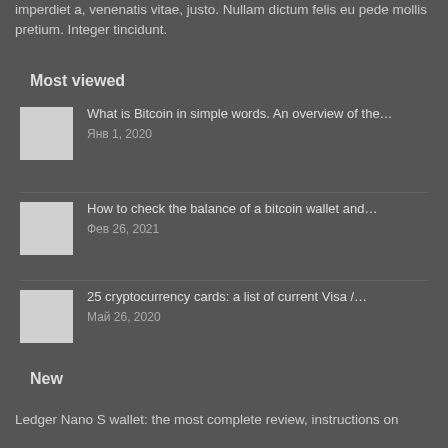imperdiet a, venenatis vitae, justo. Nullam dictum felis eu pede mollis pretium. Integer tincidunt.
Most viewed
What is Bitcoin in simple words. An overview of the… Янв 1, 2020
How to check the balance of a bitcoin wallet and… Фев 26, 2021
25 cryptocurrency cards: a list of current Visa /… Май 26, 2020
New
Ledger Nano S wallet: the most complete review, instructions on